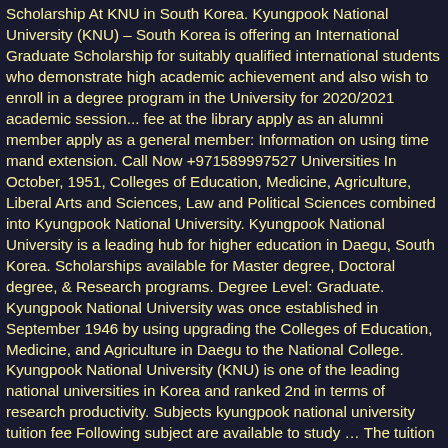Scholarship At KNU in South Korea. Kyungpook National University (KNU) – South Korea is offering an International Graduate Scholarship for suitably qualified international students who demonstrate high academic achievement and also wish to enroll in a degree program in the University for 2020/2021 academic session... fee at the library apply as an alumni member apply as a general member: Information on using time mand extension. Call Now +971589997527 Universities In October, 1951, Colleges of Education, Medicine, Agriculture, Liberal Arts and Sciences, Law and Political Sciences combined into Kyungpook National University. Kyungpook National University is a leading hub for higher education in Daegu, South Korea. Scholarships available for Master degree, Doctoral degree, & Research programs. Degree Level: Graduate. Kyungpook National University was once established in September 1946 by using upgrading the Colleges of Education, Medicine, and Agriculture in Daegu to the National College. Kyungpook National University (KNU) is one of the leading national universities in Korea and ranked 2nd in terms of research productivity. Subjects kyungpook national university tuition fee Following subject are available to study … The tuition fee at this fabulous institution is very inexpensive. Other departments including Engineering and Dentistry were established … … The application process will be divided into 2: by the embassies & the universities. Kyungpook National University offers International undergraduate students with scholarships based on their academic achievement in the previous